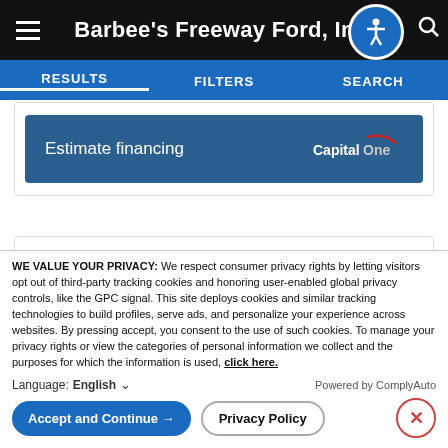Barbee's Freeway Ford, Inc.
RESULTS  FILTERS  SEARCH
Estimate financing  Capital One
Used 2016 Honda CR-V Touring
WE VALUE YOUR PRIVACY: We respect consumer privacy rights by letting visitors opt out of third-party tracking cookies and honoring user-enabled global privacy controls, like the GPC signal. This site deploys cookies and similar tracking technologies to build profiles, serve ads, and personalize your experience across websites. By pressing accept, you consent to the use of such cookies. To manage your privacy rights or view the categories of personal information we collect and the purposes for which the information is used, click here.
Language: English  Powered by ComplyAuto
Accept and Continue →  Privacy Policy  ×